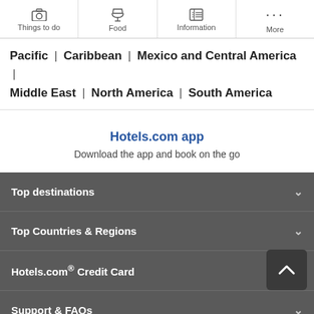Things to do | Food | Information | More
Pacific | Caribbean | Mexico and Central America | Middle East | North America | South America
Hotels.com app
Download the app and book on the go
Top destinations
Top Countries & Regions
Hotels.com® Credit Card
Support & FAQs